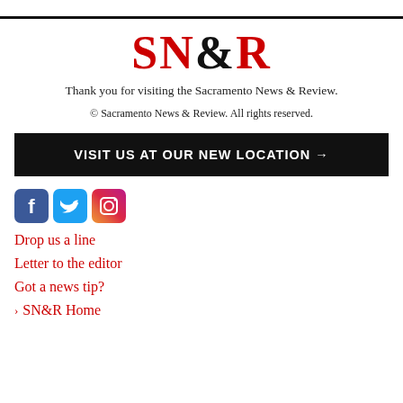[Figure (logo): SN&R logo in red bold serif text with black ampersand]
Thank you for visiting the Sacramento News & Review.
© Sacramento News & Review. All rights reserved.
VISIT US AT OUR NEW LOCATION →
[Figure (illustration): Social media icons: Facebook (blue), Twitter (light blue), Instagram (gradient pink/purple)]
Drop us a line
Letter to the editor
Got a news tip?
› SN&R Home